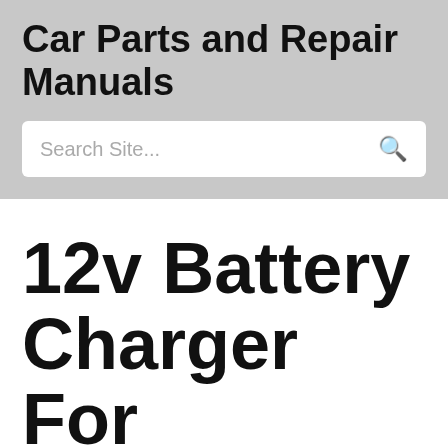Car Parts and Repair Manuals
Search Site...
12v Battery Charger For